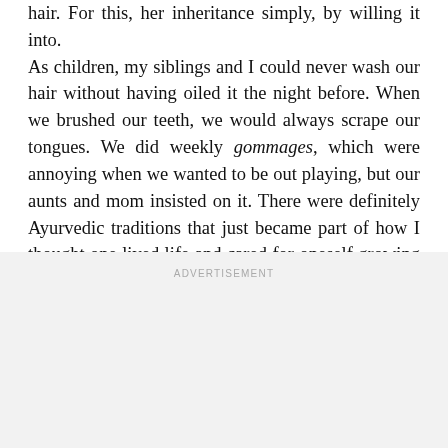hair. For this, her inheritance simply, by willing it into. As children, my siblings and I could never wash our hair without having oiled it the night before. When we brushed our teeth, we would always scrape our tongues. We did weekly gommages, which were annoying when we wanted to be out playing, but our aunts and mom insisted on it. There were definitely Ayurvedic traditions that just became part of how I thought one lived life and cared for oneself growing up.
ADVERTISEMENT